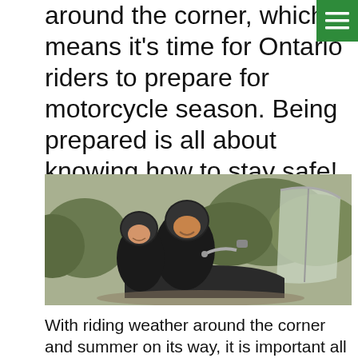[Figure (other): Green navigation menu hamburger icon button in top-right corner]
around the corner, which means it's time for Ontario riders to prepare for motorcycle season. Being prepared is all about knowing how to stay safe!
[Figure (photo): Two people wearing black motorcycle helmets smiling on a motorcycle with a windshield, outdoors with trees in the background]
With riding weather around the corner and summer on its way, it is important all motorcycle riders inform their selves on how ways to stay safe.  New and seasoned riders will all get something out of the following motorcycle safety measures.